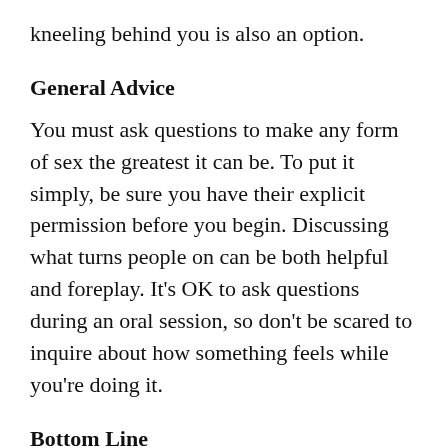kneeling behind you is also an option.
General Advice
You must ask questions to make any form of sex the greatest it can be. To put it simply, be sure you have their explicit permission before you begin. Discussing what turns people on can be both helpful and foreplay. It’s OK to ask questions during an oral session, so don’t be scared to inquire about how something feels while you’re doing it.
Bottom Line
There’s no denying that oral sex may be as